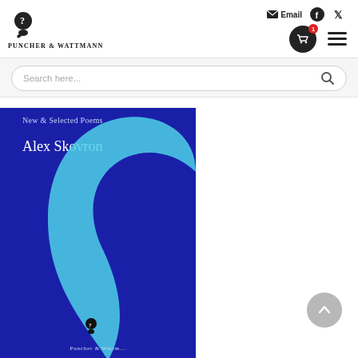Puncher & Wattmann — Email, Facebook, Twitter icons, Cart (1), Menu
Search here...
[Figure (photo): Book cover for 'New & Selected Poems' by Alex Skovron, published by Puncher & Wattmann. Dark blue background with a large cyan arc/crescent shape and the Puncher & Wattmann logo at the bottom.]
New & Selected Poems
Alex Skovron
Puncher & Wattmann